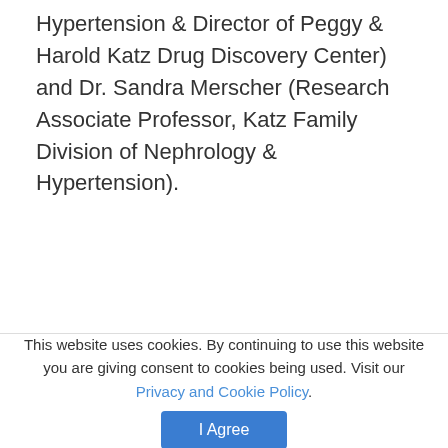Hypertension & Director of Peggy & Harold Katz Drug Discovery Center) and Dr. Sandra Merscher (Research Associate Professor, Katz Family Division of Nephrology & Hypertension).
(PRNews photo/Variant Pharmaceuticals, Inc.)
This website uses cookies. By continuing to use this website you are giving consent to cookies being used. Visit our Privacy and Cookie Policy.